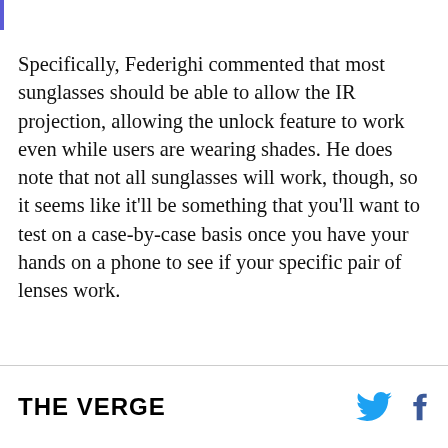Specifically, Federighi commented that most sunglasses should be able to allow the IR projection, allowing the unlock feature to work even while users are wearing shades. He does note that not all sunglasses will work, though, so it seems like it'll be something that you'll want to test on a case-by-case basis once you have your hands on a phone to see if your specific pair of lenses work.
THE VERGE